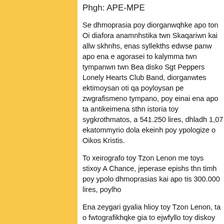Phgh: APE-MPE
Se dhmoprasia poy diorganwqhke apo ton Oi diafora anamnhstika twn Skaqariwn kai allw skhnhs, enas syllekths edwse panw apo ena e agorasei to kalymma twn tympanwn twn Bea disko Sgt Peppers Lonely Hearts Club Band, diorganwtes ektimoysan oti qa poyloysan pe zwgrafismeno tympano, poy einai ena apo ta antikeimena sthn istoria toy sygkrothmatos, a 541.250 lires, dhladh 1,07 ekatommyrio dola ekeinh poy ypologize o Oikos Kristis.
To xeirografo toy Tzon Lenon me toys stixoy A Chance, jeperase epishs thn timh poy ypolo dhmoprasias kai apo tis 300.000 lires, poylho
Ena zeygari gyalia hlioy toy Tzon Lenon, ta o fwtografikhqke gia to ejwfyllo toy diskoy Mi lires.
Sth dhmoprasia ayth poylhqhke mia spania h Tzimi Xentrij, sto Mpentforntsair, ton Ioylio lirwn. Dhmoprathqhke epishs enas enisxyths Xentrij se synaylies apo to 1967 ews to 1969